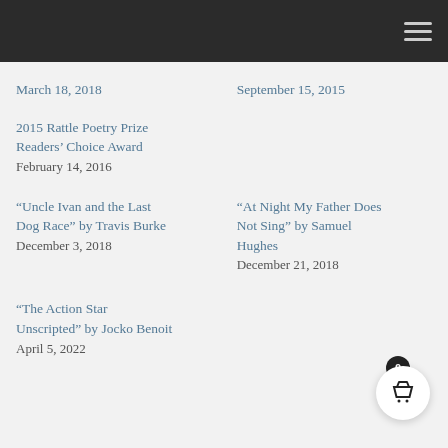March 18, 2018
September 15, 2015
2015 Rattle Poetry Prize Readers’ Choice Award
February 14, 2016
“Uncle Ivan and the Last Dog Race” by Travis Burke
December 3, 2018
“At Night My Father Does Not Sing” by Samuel Hughes
December 21, 2018
“The Action Star Unscripted” by Jocko Benoit
April 5, 2022